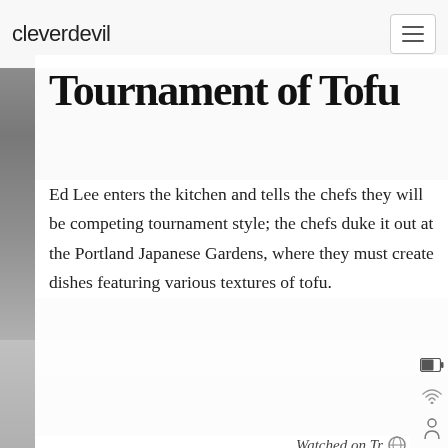cleverdevil
Tournament of Tofu
Ed Lee enters the kitchen and tells the chefs they will be competing tournament style; the chefs duke it out at the Portland Japanese Gardens, where they must create dishes featuring various textures of tofu.
Watched on Trak
0 stars   0 comme
JONATHAN LACOUR
APRIL 11, 2022